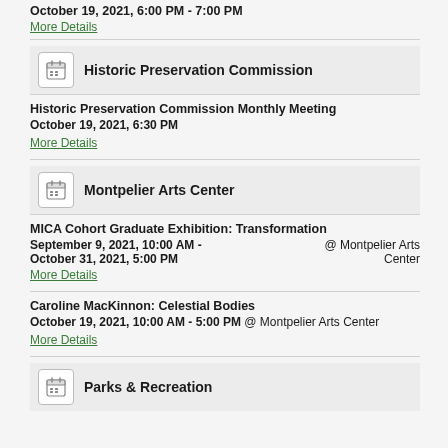October 19, 2021, 6:00 PM - 7:00 PM
More Details
Historic Preservation Commission
Historic Preservation Commission Monthly Meeting
October 19, 2021, 6:30 PM
More Details
Montpelier Arts Center
MICA Cohort Graduate Exhibition: Transformation
September 9, 2021, 10:00 AM - October 31, 2021, 5:00 PM @ Montpelier Arts Center
More Details
Caroline MacKinnon: Celestial Bodies
October 19, 2021, 10:00 AM - 5:00 PM @ Montpelier Arts Center
More Details
Parks & Recreation